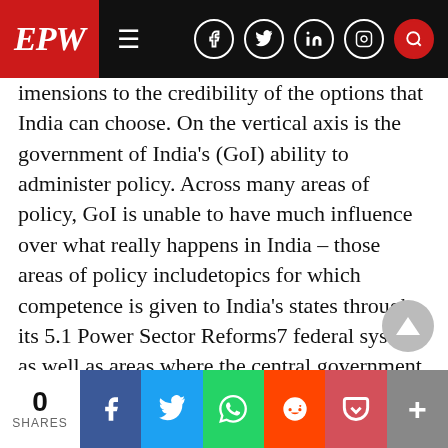EPW
imensions to the credibility of the options that India can choose. On the vertical axis is the government of India's (GoI) ability to administer policy. Across many areas of policy, GoI is unable to have much influence over what really happens in India – those areas of policy includetopics for which competence is given to India's states through its 5.1 Power Sector Reforms7 federal system as well as areas where the central government Reforms in the power sector offer one of the best options of the codoes not have the administrative capacity to have much impact on benefit approach outlined above, as it aligns w
0 SHARES